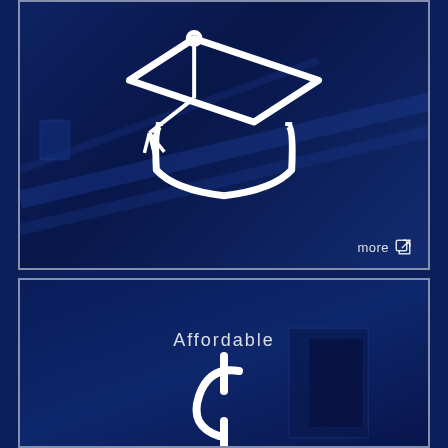[Figure (illustration): Dark navy blue panel with a white outline graduation cap (mortarboard) icon centered, set against a blurred building background with a 'more' link with share icon in the bottom right]
[Figure (illustration): Dark navy blue panel with the text 'Affordable' and a white outline cent/currency icon below it, set against a blurred building background]